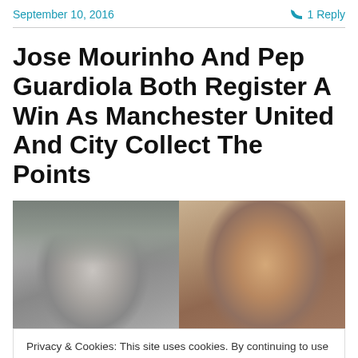September 10, 2016    1 Reply
Jose Mourinho And Pep Guardiola Both Register A Win As Manchester United And City Collect The Points
[Figure (photo): Two men's heads side by side — left shows grey-haired man, right shows bald man with darker skin tone]
Privacy & Cookies: This site uses cookies. By continuing to use this website, you agree to their use.
To find out more, including how to control cookies, see here: Cookie Policy
Close and accept